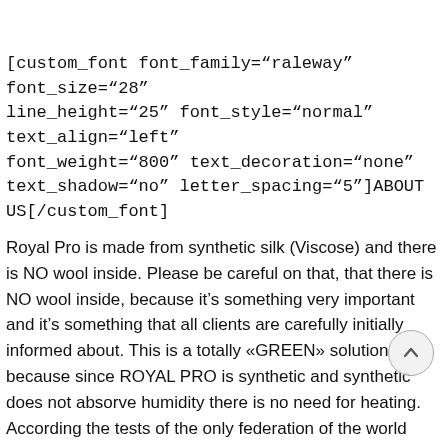[custom_font font_family="raleway" font_size="28" line_height="25" font_style="normal" text_align="left" font_weight="800" text_decoration="none" text_shadow="no" letter_spacing="5"]ABOUT US[/custom_font]
Royal Pro is made from synthetic silk (Viscose) and there is NO wool inside. Please be careful on that, that there is NO wool inside, because it's something very important and it's something that all clients are carefully initially informed about. This is a totally «GREEN» solution because since ROYAL PRO is synthetic and synthetic does not absorve humidity there is no need for heating. According the tests of the only federation of the world which makes six months lasting official tests (FIBIS, Italian Federation of Billiards), the